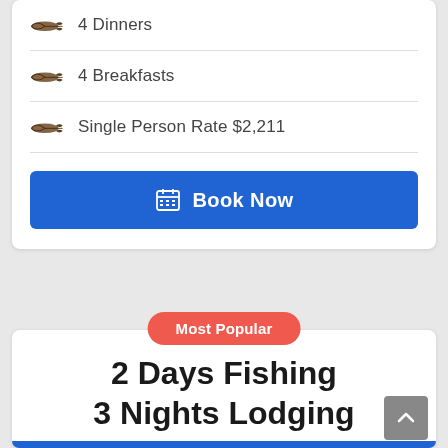4 Dinners
4 Breakfasts
Single Person Rate $2,211
Book Now
Most Popular
2 Days Fishing 3 Nights Lodging